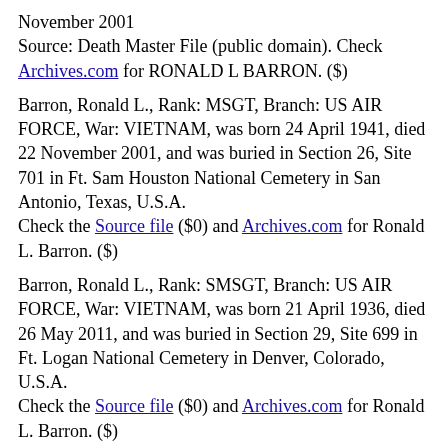November 2001
Source: Death Master File (public domain). Check Archives.com for RONALD L BARRON. ($)
Barron, Ronald L., Rank: MSGT, Branch: US AIR FORCE, War: VIETNAM, was born 24 April 1941, died 22 November 2001, and was buried in Section 26, Site 701 in Ft. Sam Houston National Cemetery in San Antonio, Texas, U.S.A.
Check the Source file ($0) and Archives.com for Ronald L. Barron. ($)
Barron, Ronald L., Rank: SMSGT, Branch: US AIR FORCE, War: VIETNAM, was born 21 April 1936, died 26 May 2011, and was buried in Section 29, Site 699 in Ft. Logan National Cemetery in Denver, Colorado, U.S.A.
Check the Source file ($0) and Archives.com for Ronald L. Barron. ($)
Barron, Ronald Lee, Rank: SN, Branch: US COAST